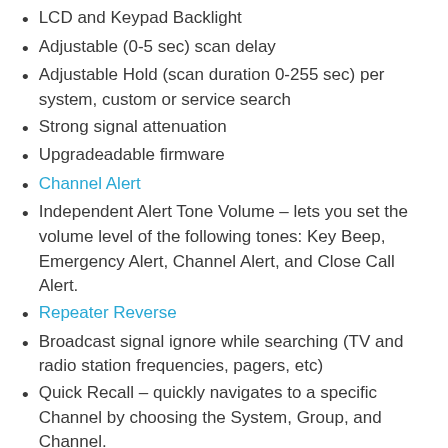LCD and Keypad Backlight
Adjustable (0-5 sec) scan delay
Adjustable Hold (scan duration 0-255 sec) per system, custom or service search
Strong signal attenuation
Upgradeadable firmware
Channel Alert
Independent Alert Tone Volume – lets you set the volume level of the following tones: Key Beep, Emergency Alert, Channel Alert, and Close Call Alert.
Repeater Reverse
Broadcast signal ignore while searching (TV and radio station frequencies, pagers, etc)
Quick Recall – quickly navigates to a specific Channel by choosing the System, Group, and Channel.
Duplicate Channel Alert
Data Skip